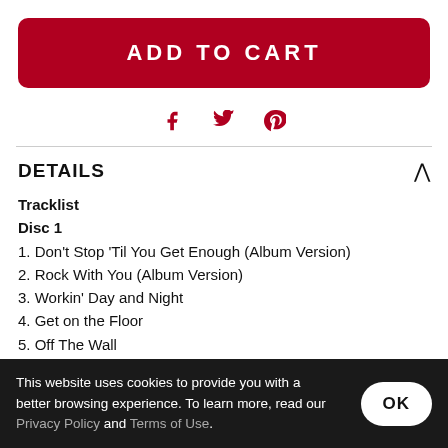ADD TO CART
[Figure (infographic): Social sharing icons: Facebook (f), Twitter (bird), Pinterest (p) in dark red/crimson color]
DETAILS
Tracklist
Disc 1
1. Don't Stop 'Til You Get Enough (Album Version)
2. Rock With You (Album Version)
3. Workin' Day and Night
4. Get on the Floor
5. Off The Wall
6. Girlfriend
7. She's Out of My Life (Single Version)
This website uses cookies to provide you with a better browsing experience. To learn more, read our Privacy Policy and Terms of Use.